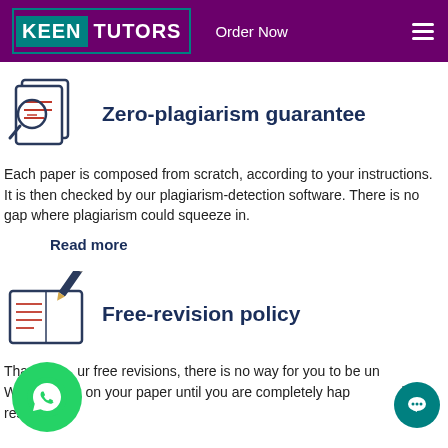KEENTUTORS  Order Now
[Figure (illustration): Document with magnifying glass icon representing plagiarism check]
Zero-plagiarism guarantee
Each paper is composed from scratch, according to your instructions. It is then checked by our plagiarism-detection software. There is no gap where plagiarism could squeeze in.
Read more
[Figure (illustration): Notebook with pencil icon representing revision policy]
Free-revision policy
Thanks to our free revisions, there is no way for you to be unhappy. We will work on your paper until you are completely happy with the result.
[Figure (illustration): WhatsApp chat button (green circle with phone icon)]
[Figure (illustration): Chat support button (teal circle with chat icon)]